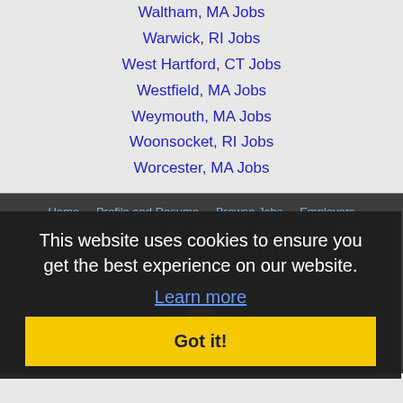Waltham, MA Jobs
Warwick, RI Jobs
West Hartford, CT Jobs
Westfield, MA Jobs
Weymouth, MA Jobs
Woonsocket, RI Jobs
Worcester, MA Jobs
Home | Profile and Resume | Browse Jobs | Employers | Other Cities | Clients List | About Us | Contact Us | Help | Terms of Use | Register / Log In | Copyright © 2001 - 2022 Recruiter Media Corporation · Brookline Jobs
This website uses cookies to ensure you get the best experience on our website. Learn more Got it!